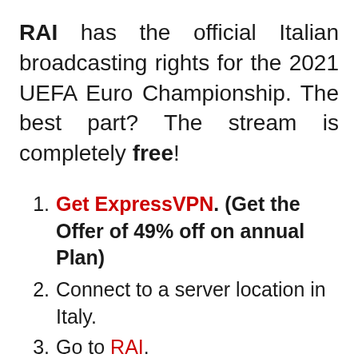RAI has the official Italian broadcasting rights for the 2021 UEFA Euro Championship. The best part? The stream is completely free!
1. Get ExpressVPN. (Get the Offer of 49% off on annual Plan)
2. Connect to a server location in Italy.
3. Go to RAI.
4. Start watching for free!